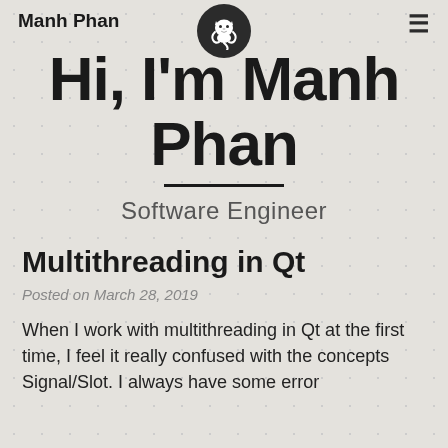Manh Phan
[Figure (logo): GitHub Octocat logo inside a black circle]
Hi, I'm Manh Phan
Software Engineer
Multithreading in Qt
Posted on March 28, 2019
When I work with multithreading in Qt at the first time, I feel it really confused with the concepts Signal/Slot. I always have some error